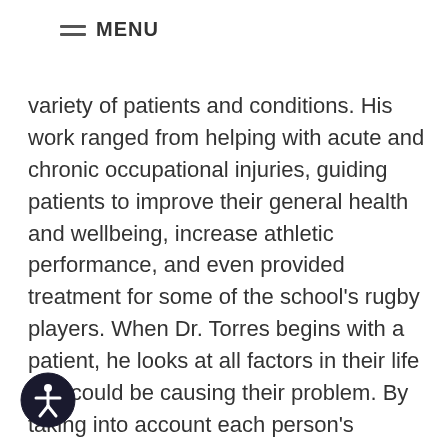MENU
variety of patients and conditions. His work ranged from helping with acute and chronic occupational injuries, guiding patients to improve their general health and wellbeing, increase athletic performance, and even provided treatment for some of the school's rugby players. When Dr. Torres begins with a patient, he looks at all factors in their life that could be causing their problem. By taking into account each person's symptoms, lifestyle, injuries, nutrition, and other factors contributing to their health, he is able to find the key areas that need to be addressed in order to alleviate their symptoms and optimize their body's h.